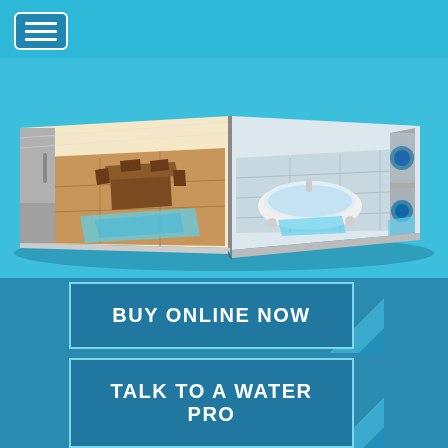[Figure (illustration): 3D illustration of an open book showing cutaway views of home rooms including kitchen with dining table, bathroom with freestanding bathtub, and laundry room with washing machines. Blue sensor/water detection pads shown on floors. Background is blue.]
BUY ONLINE NOW
TALK TO A WATER PRO